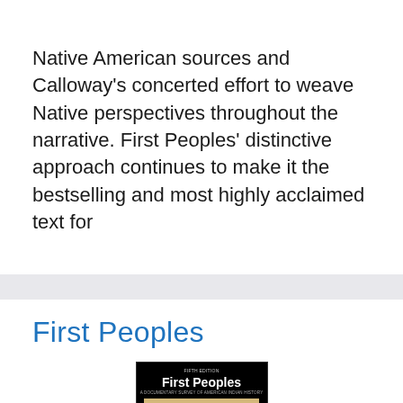Native American sources and Calloway's concerted effort to weave Native perspectives throughout the narrative. First Peoples' distinctive approach continues to make it the bestselling and most highly acclaimed text for
First Peoples
[Figure (photo): Book cover of 'First Peoples: A Documentary Survey of American Indian History' with a colorful illustration of Native American figures and an automobile on a tan/golden background, set against a black cover.]